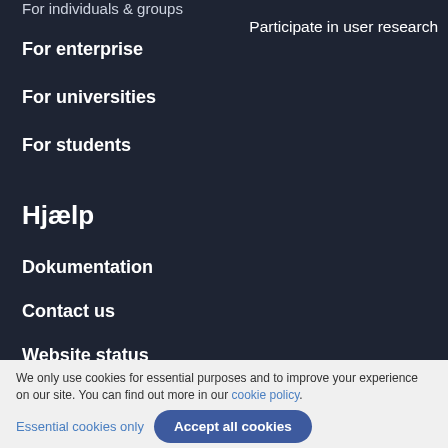For individuals & groups
Participate in user research
For enterprise
For universities
For students
Hjælp
Dokumentation
Contact us
Website status
We only use cookies for essential purposes and to improve your experience on our site. You can find out more in our cookie policy.
Essential cookies only
Accept all cookies